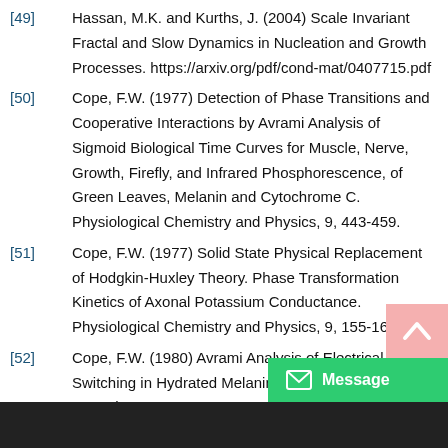[49] Hassan, M.K. and Kurths, J. (2004) Scale Invariant Fractal and Slow Dynamics in Nucleation and Growth Processes. https://arxiv.org/pdf/cond-mat/0407715.pdf
[50] Cope, F.W. (1977) Detection of Phase Transitions and Cooperative Interactions by Avrami Analysis of Sigmoid Biological Time Curves for Muscle, Nerve, Growth, Firefly, and Infrared Phosphorescence, of Green Leaves, Melanin and Cytochrome C. Physiological Chemistry and Physics, 9, 443-459.
[51] Cope, F.W. (1977) Solid State Physical Replacement of Hodgkin-Huxley Theory. Phase Transformation Kinetics of Axonal Potassium Conductance. Physiological Chemistry and Physics, 9, 155-160.
[52] Cope, F.W. (1980) Avrami Analysis of Electrical Switching in Hydrated Melanin Suggest Dependence on a Phase